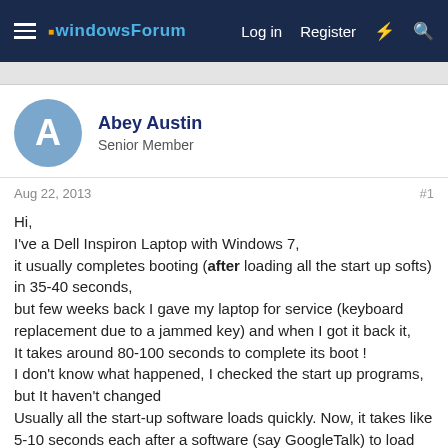windowsForum   Log in   Register
Abey Austin
Senior Member
Aug 22, 2013   #1
Hi,
I've a Dell Inspiron Laptop with Windows 7,
it usually completes booting (after loading all the start up softs) in 35-40 seconds,
but few weeks back I gave my laptop for service (keyboard replacement due to a jammed key) and when I got it back it,
It takes around 80-100 seconds to complete its boot !
I don't know what happened, I checked the start up programs, but It haven't changed
Usually all the start-up software loads quickly. Now, it takes like 5-10 seconds each after a software (say GoogleTalk) to load after it loads another software (like Bluetooth Devices).